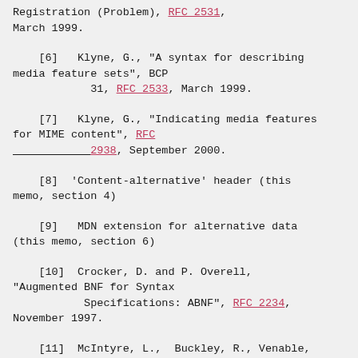Registration (Problem), RFC 2531, March 1999.
[6]   Klyne, G., "A syntax for describing media feature sets", BCP 31, RFC 2533, March 1999.
[7]   Klyne, G., "Indicating media features for MIME content", RFC 2938, September 2000.
[8]  'Content-alternative' header (this memo, section 4)
[9]   MDN extension for alternative data (this memo, section 6)
[10]  Crocker, D. and P. Overell, "Augmented BNF for Syntax Specifications: ABNF", RFC 2234, November 1997.
[11]  McIntyre, L.,  Buckley, R., Venable,